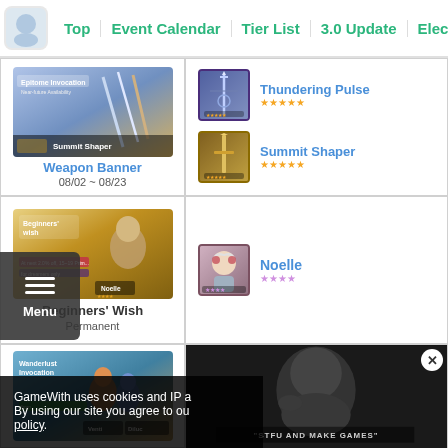Top | Event Calendar | Tier List | 3.0 Update | Electroc...
[Figure (screenshot): Weapon banner art for Epitome Invocation showing Summit Shaper weapon]
Weapon Banner
08/02 ~ 08/23
[Figure (illustration): Thundering Pulse weapon icon with 5-star rating]
Thundering Pulse
[Figure (illustration): Summit Shaper weapon icon with 5-star rating]
Summit Shaper
[Figure (screenshot): Beginners' Wish banner art featuring Noelle character]
Beginners' Wish
Permanent
[Figure (illustration): Noelle character icon with 4-star rating]
Noelle
[Figure (screenshot): Wanderlust Invocation banner art]
[Figure (screenshot): Video overlay showing a person, partially loaded]
GameWith uses cookies and IP a... By using our site you agree to ou... policy.